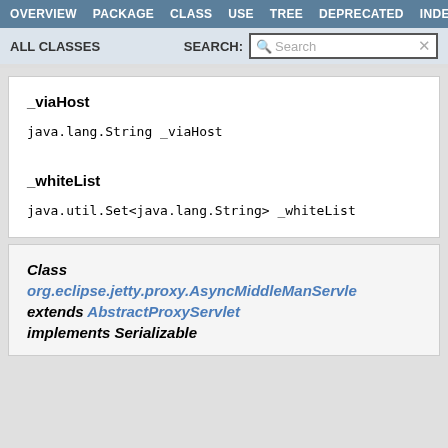OVERVIEW  PACKAGE  CLASS  USE  TREE  DEPRECATED  INDEX
ALL CLASSES   SEARCH:
_viaHost
java.lang.String _viaHost
_whiteList
java.util.Set<java.lang.String> _whiteList
Class
org.eclipse.jetty.proxy.AsyncMiddleManServle
extends AbstractProxyServlet
implements Serializable